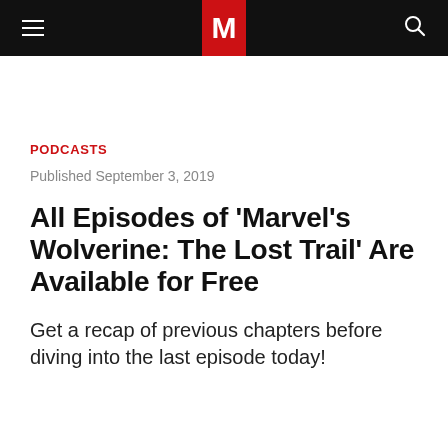M
PODCASTS
Published September 3, 2019
All Episodes of 'Marvel's Wolverine: The Lost Trail' Are Available for Free
Get a recap of previous chapters before diving into the last episode today!